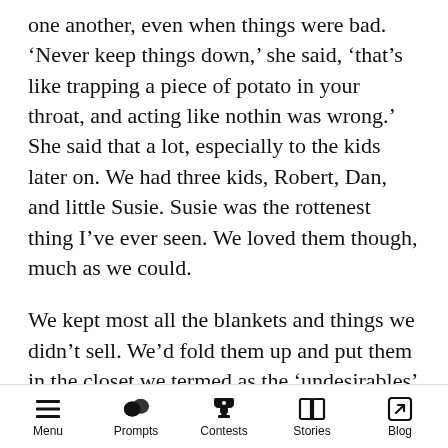one another, even when things were bad. 'Never keep things down,' she said, 'that's like trapping a piece of potato in your throat, and acting like nothin was wrong.' She said that a lot, especially to the kids later on. We had three kids, Robert, Dan, and little Susie. Susie was the rottenest thing I've ever seen. We loved them though, much as we could.
We kept most all the blankets and things we didn't sell. We'd fold them up and put them in the closet we termed as the 'undesirables' seein as how they left something to be desired among our customers. Whenever it got too full, we'd take em down town as a last attempt and then
Menu  Prompts  Contests  Stories  Blog